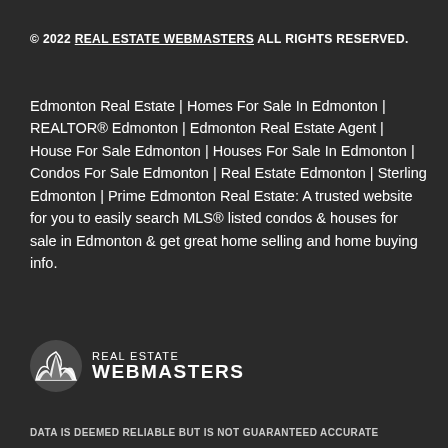© 2022 REAL ESTATE WEBMASTERS ALL RIGHTS RESERVED.
Edmonton Real Estate | Homes For Sale In Edmonton | REALTOR® Edmonton | Edmonton Real Estate Agent | House For Sale Edmonton | Houses For Sale In Edmonton | Condos For Sale Edmonton | Real Estate Edmonton | Sterling Edmonton | Prime Edmonton Real Estate: A trusted website for you to easily search MLS® listed condos & houses for sale in Edmonton & get great home selling and home buying info.
[Figure (logo): Real Estate Webmasters logo with mountain icon and text]
DATA IS DEEMED RELIABLE BUT IS NOT GUARANTEED ACCURATE